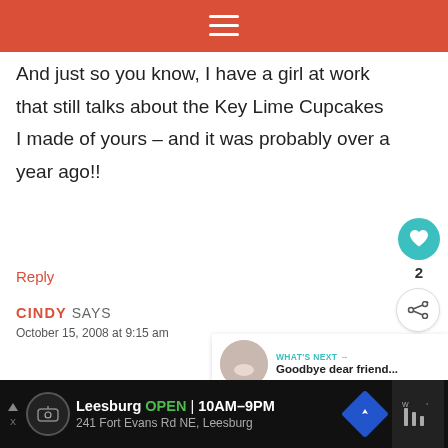≡
And just so you know, I have a girl at work that still talks about the Key Lime Cupcakes I made of yours – and it was probably over a year ago!!
Reply
CINDY SAYS
October 15, 2008 at 9:15 am
WHAT'S NEXT → Goodbye dear friend...
Leesburg OPEN 10AM–9PM 241 Fort Evans Rd NE, Leesburg